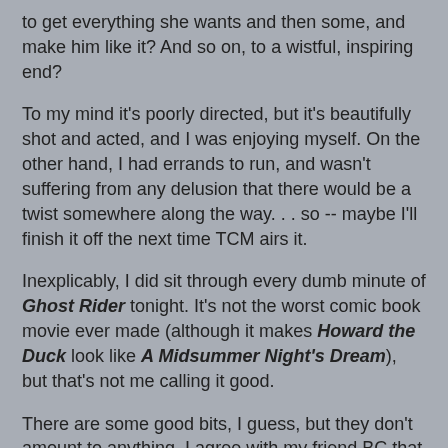to get everything she wants and then some, and make him like it? And so on, to a wistful, inspiring end?
To my mind it's poorly directed, but it's beautifully shot and acted, and I was enjoying myself. On the other hand, I had errands to run, and wasn't suffering from any delusion that there would be a twist somewhere along the way. . . so -- maybe I'll finish it off the next time TCM airs it.
Inexplicably, I did sit through every dumb minute of Ghost Rider tonight. It's not the worst comic book movie ever made (although it makes Howard the Duck look like A Midsummer Night's Dream), but that's not me calling it good.
There are some good bits, I guess, but they don't amount to anything. I agree with my friend BC that they spend a lot of time building up the Old West version of the character, only to have him ride off into the sunset just when he could have been making himself useful. But that's Hollywood for you: The world belongs to the young, and God Forbid you had any of those Upitty Old People thinking that they were still good for something.